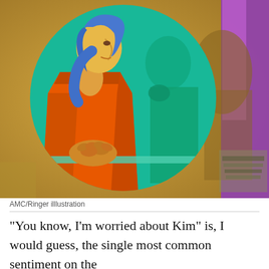[Figure (illustration): Colorful pop-art style illustration showing a woman in an orange blazer with blue hair sitting at a table with clasped hands, inside a teal circle, against a sepia/gold background with purple accent on the right. A second figure in teal tones sits behind her.]
AMC/Ringer illlustration
“You know, I’m worried about Kim” is, I would guess, the single most common sentiment on the